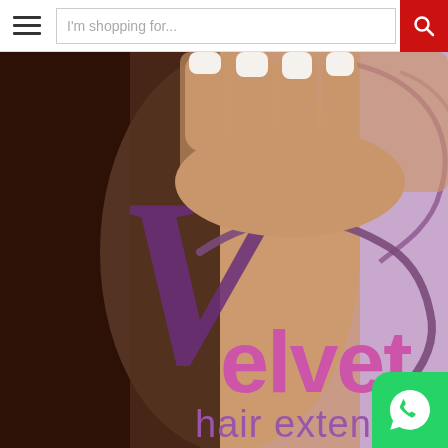I'm shopping for...
[Figure (photo): Velvet Hair Extensions promotional image: a woman touching her long dark hair against a lavender/purple background, with the 'Velvet hair extension' logo overlaid in purple and pink text]
[Figure (logo): WhatsApp green circular icon in bottom-right corner overlay]